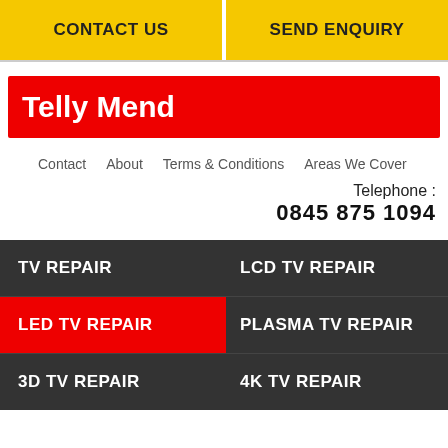CONTACT US | SEND ENQUIRY
Telly Mend
Contact   About   Terms & Conditions   Areas We Cover
Telephone : 
0845 875 1094
TV REPAIR
LCD TV REPAIR
LED TV REPAIR
PLASMA TV REPAIR
3D TV REPAIR
4K TV REPAIR